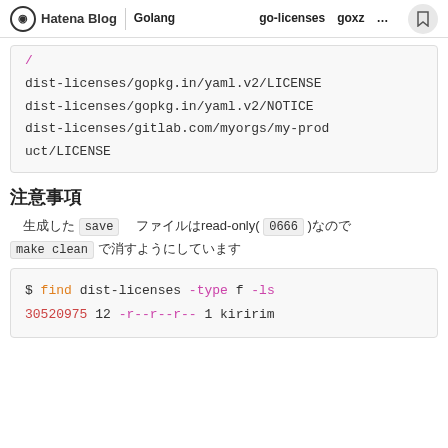Hatena Blog | Golang　go-licenses　goxz…
dist-licenses/gopkg.in/yaml.v2/LICENSE
dist-licenses/gopkg.in/yaml.v2/NOTICE
dist-licenses/gitlab.com/myorgs/my-product/LICENSE
注意事項
生成した save ファイルはread-only( 0666 )なので make clean で消すようにしています
$ find dist-licenses -type f -ls
30520975    12 -r--r--r--    1 kiririm